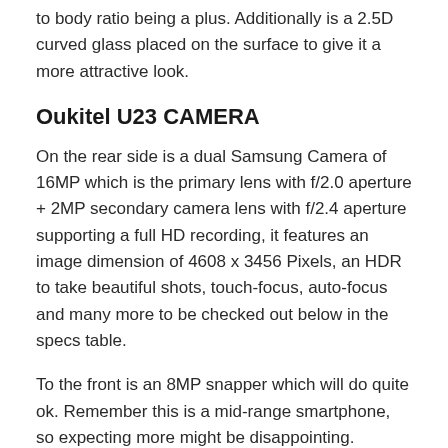to body ratio being a plus. Additionally is a 2.5D curved glass placed on the surface to give it a more attractive look.
Oukitel U23 CAMERA
On the rear side is a dual Samsung Camera of 16MP which is the primary lens with f/2.0 aperture + 2MP secondary camera lens with f/2.4 aperture supporting a full HD recording, it features an image dimension of 4608 x 3456 Pixels, an HDR to take beautiful shots, touch-focus, auto-focus and many more to be checked out below in the specs table.
To the front is an 8MP snapper which will do quite ok. Remember this is a mid-range smartphone, so expecting more might be disappointing.
Oukitel U23 PERFORMANCE